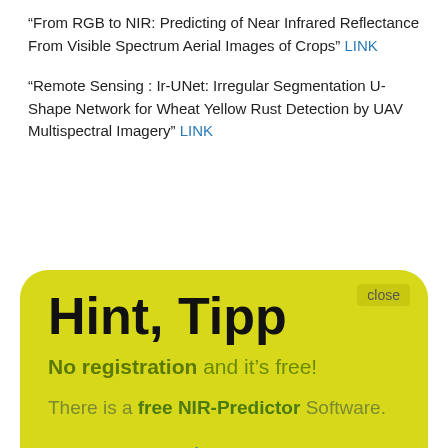“From RGB to NIR: Predicting of Near Infrared Reflectance From Visible Spectrum Aerial Images of Crops” LINK
“Remote Sensing : Ir-UNet: Irregular Segmentation U-Shape Network for Wheat Yellow Rust Detection by UAV Multispectral Imagery” LINK
[Figure (screenshot): Yellow rounded-rectangle popup overlay with title 'Hint, Tipp', text about no registration and free NIR-Predictor Software, and a 'Show me' call-to-action link. Has a 'close' button in top right.]
We use cookies to ensure that we give you the best experience on our website. If you continue to use this site we will assume that you are happy with it.
Ok
Food & Food Industry NIR-Usage
“Study on the aqueous dispersibility of multi-walled carbon nanotubes bearing modified corn starch” | LINK
“Remote Sensing : Incorporating Multi Scale, Spectrally”